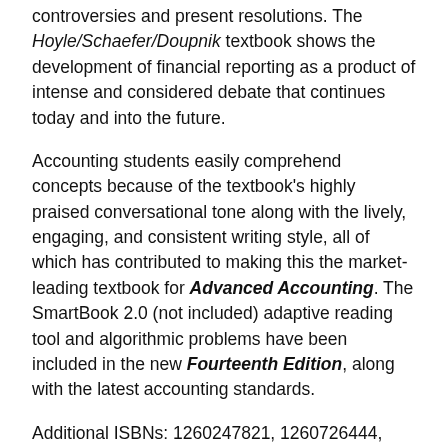controversies and present resolutions. The Hoyle/Schaefer/Doupnik textbook shows the development of financial reporting as a product of intense and considered debate that continues today and into the future.
Accounting students easily comprehend concepts because of the textbook's highly praised conversational tone along with the lively, engaging, and consistent writing style, all of which has contributed to making this the market-leading textbook for Advanced Accounting. The SmartBook 2.0 (not included) adaptive reading tool and algorithmic problems have been included in the new Fourteenth Edition, along with the latest accounting standards.
Additional ISBNs: 1260247821, 1260726444, 1260961427, 978-1260247824, 9781260726442, 9781260961423, 978-1260726442, 978-1260961423, 978-1260575910,